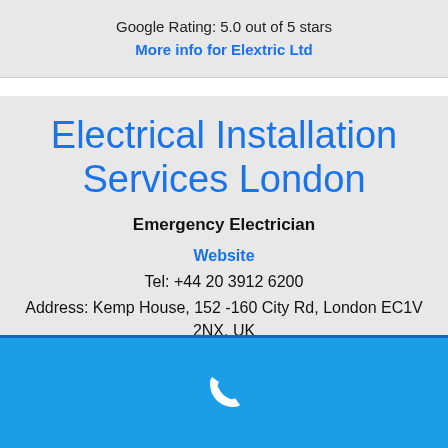Google Rating: 5.0 out of 5 stars
More info for Elextric Ltd
Electrical Installation Services London
Emergency Electrician
Website
Tel: +44 20 3912 6200
Address: Kemp House, 152 -160 City Rd, London EC1V 2NX, UK
Google Rating: 5.0 out of 5 stars
[Figure (other): Blue phone bar with white phone handset icon at the bottom of the page]